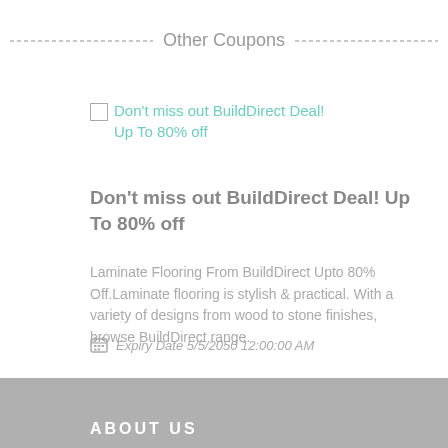Other Coupons
Don't miss out BuildDirect Deal! Up To 80% off
Don't miss out BuildDirect Deal! Up To 80% off
Laminate Flooring From BuildDirect Upto 80% Off.Laminate flooring is stylish & practical. With a variety of designs from wood to stone finishes, browse BuildDirect range.
Expiry Date 5/5/2050 12:00:00 AM
ABOUT US